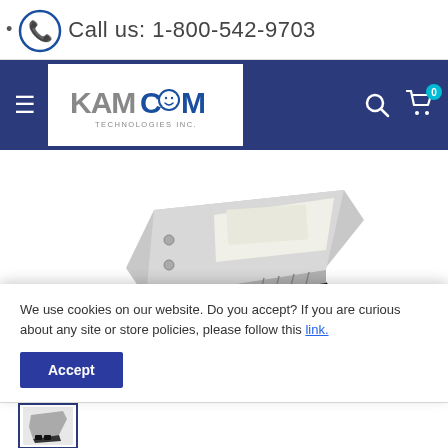Call us: 1-800-542-9703
[Figure (logo): KamCom Technologies Inc. logo in a white box on dark blue navigation bar]
[Figure (photo): Enterprise SAS hard drive with hot-swap tray/sled, silver and black, shown at an angle on white background]
We use cookies on our website. Do you accept? If you are curious about any site or store policies, please follow this link.
[Figure (photo): Small thumbnail image of the same enterprise hard drive in a tray]